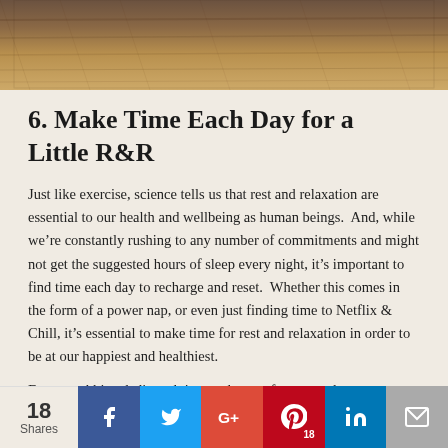[Figure (photo): Partial photo showing a wooden floor surface, cropped at top of page]
6. Make Time Each Day for a Little R&R
Just like exercise, science tells us that rest and relaxation are essential to our health and wellbeing as human beings.  And, while we're constantly rushing to any number of commitments and might not get the suggested hours of sleep every night, it's important to find time each day to recharge and reset.  Whether this comes in the form of a power nap, or even just finding time to Netflix & Chill, it's essential to make time for rest and relaxation in order to be at our happiest and healthiest.
For our rabbits, dedicated time and space for rest and
[Figure (infographic): Social share bar with 18 Shares count, Facebook, Twitter, Google+, Pinterest (18), LinkedIn, and email buttons]